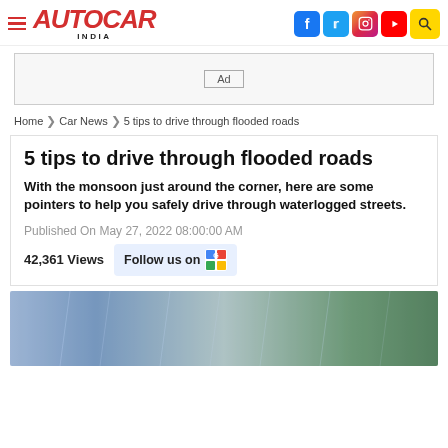AUTOCAR INDIA
[Figure (other): Advertisement banner placeholder]
Home > Car News > 5 tips to drive through flooded roads
5 tips to drive through flooded roads
With the monsoon just around the corner, here are some pointers to help you safely drive through waterlogged streets.
Published On May 27, 2022 08:00:00 AM
42,361 Views  Follow us on
[Figure (photo): Photo of a car driving through heavy rain on a flooded road with trees and traffic light visible]